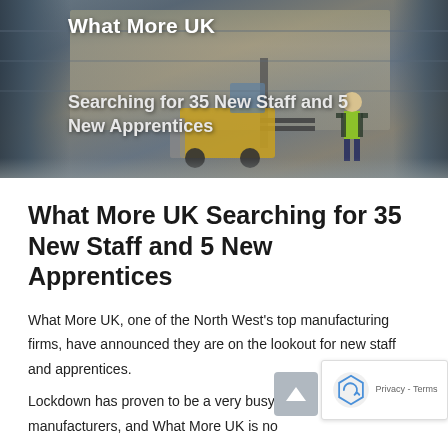[Figure (photo): Warehouse interior with forklift truck and worker in high-visibility vest, shelving with pallets and boxes in the background. Overlay text shows 'What More UK' and 'Searching for 35 New Staff and 5 New Apprentices'.]
What More UK
Searching for 35 New Staff and 5 New Apprentices
What More UK Searching for 35 New Staff and 5 New Apprentices
What More UK, one of the North West's top manufacturing firms, have announced they are on the lookout for new staff and apprentices.
Lockdown has proven to be a very busy period for many British manufacturers, and What More UK is no